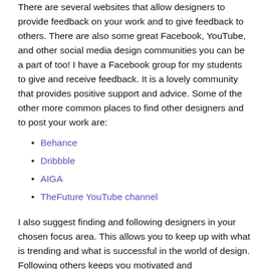There are several websites that allow designers to provide feedback on your work and to give feedback to others. There are also some great Facebook, YouTube, and other social media design communities you can be a part of too! I have a Facebook group for my students to give and receive feedback. It is a lovely community that provides positive support and advice. Some of the other more common places to find other designers and to post your work are:
Behance
Dribbble
AIGA
TheFuture YouTube channel
I also suggest finding and following designers in your chosen focus area. This allows you to keep up with what is trending and what is successful in the world of design. Following others keeps you motivated and